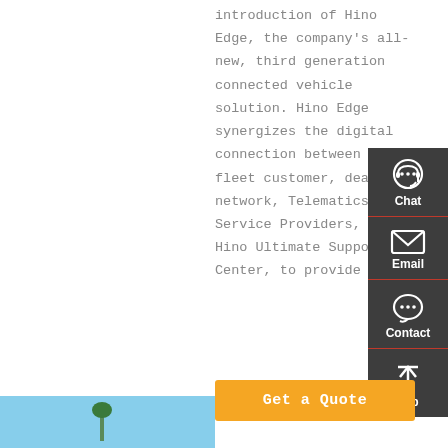introduction of Hino Edge, the company's all-new, third generation connected vehicle solution. Hino Edge synergizes the digital connection between the fleet customer, dealer network, Telematics Service Providers, and Hino Ultimate Support Center, to provide
[Figure (other): Sidebar widget with dark gray background showing four items: Chat (headset icon), Email (envelope icon), Contact (speech bubble icon), Top (up arrow icon), separated by red horizontal lines.]
Get a Quote
[Figure (photo): Bottom-left photo strip showing a partial image with a blue sky background and what appears to be a small structure or pole.]